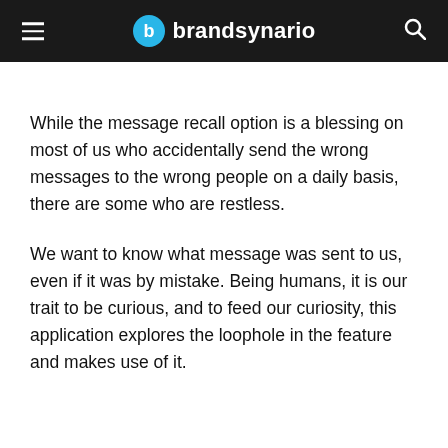brandsynario
While the message recall option is a blessing on most of us who accidentally send the wrong messages to the wrong people on a daily basis, there are some who are restless.
We want to know what message was sent to us, even if it was by mistake. Being humans, it is our trait to be curious, and to feed our curiosity, this application explores the loophole in the feature and makes use of it.